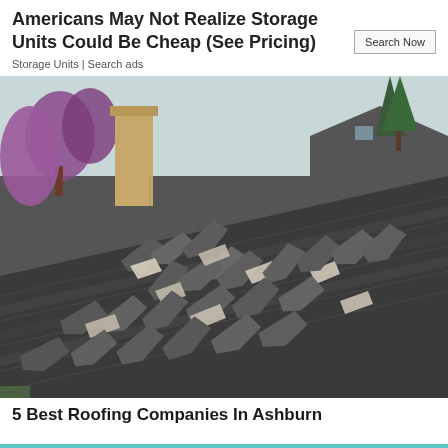Americans May Not Realize Storage Units Could Be Cheap (See Pricing)
Storage Units | Search ads
[Figure (photo): Photograph of a severely damaged residential roof with many dark asphalt shingles curled, lifted, and displaced, exposing the roof deck underneath. A brick chimney and trees are visible in the background.]
5 Best Roofing Companies In Ashburn